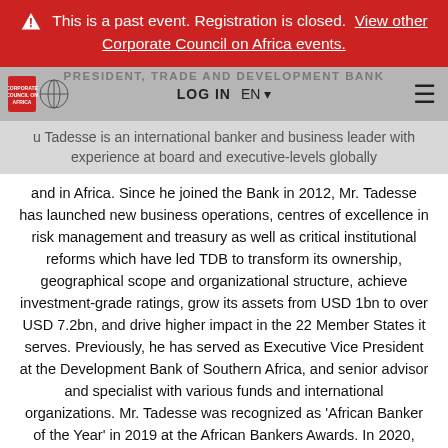This is a past event. Registration is closed. View other Corporate Council on Africa events.
PRESIDENT, TRADE AND DEVELOPMENT BANK
u Tadesse is an international banker and business leader with experience at board and executive-levels globally and in Africa. Since he joined the Bank in 2012, Mr. Tadesse has launched new business operations, centres of excellence in risk management and treasury as well as critical institutional reforms which have led TDB to transform its ownership, geographical scope and organizational structure, achieve investment-grade ratings, grow its assets from USD 1bn to over USD 7.2bn, and drive higher impact in the 22 Member States it serves. Previously, he has served as Executive Vice President at the Development Bank of Southern Africa, and senior advisor and specialist with various funds and international organizations. Mr. Tadesse was recognized as 'African Banker of the Year' in 2019 at the African Bankers Awards. In 2020, TDB was honored as African Bank of the Year.